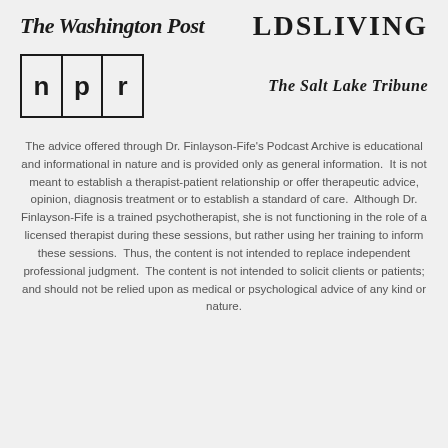[Figure (logo): The Washington Post logo in bold italic serif font]
[Figure (logo): LDS Living logo in large bold serif capital letters]
[Figure (logo): NPR logo in a three-cell bordered box]
[Figure (logo): The Salt Lake Tribune logo in italic serif font]
The advice offered through Dr. Finlayson-Fife's Podcast Archive is educational and informational in nature and is provided only as general information.  It is not meant to establish a therapist-patient relationship or offer therapeutic advice, opinion, diagnosis treatment or to establish a standard of care.  Although Dr. Finlayson-Fife is a trained psychotherapist, she is not functioning in the role of a licensed therapist during these sessions, but rather using her training to inform these sessions.  Thus, the content is not intended to replace independent professional judgment.  The content is not intended to solicit clients or patients; and should not be relied upon as medical or psychological advice of any kind or nature.